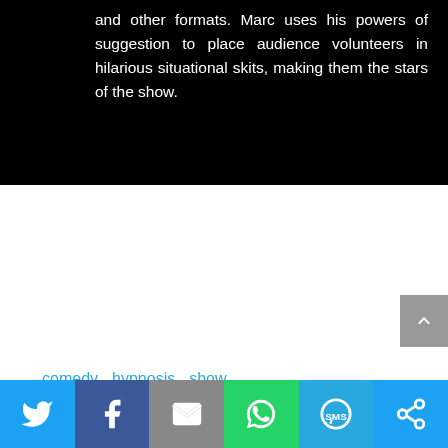and other formats. Marc uses his powers of suggestion to place audience volunteers in hilarious situational skits, making them the stars of the show.
comedy  hypnosis  show
[Figure (screenshot): Social sharing bar with Twitter, Facebook, Email, WhatsApp, SMS, and Other share buttons]